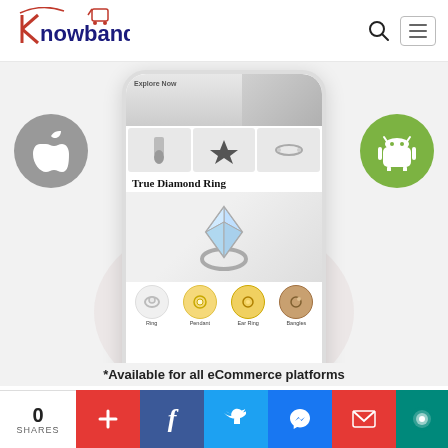[Figure (screenshot): Knowband website header with logo, search icon, and hamburger menu button]
[Figure (screenshot): Mobile app screenshot showing jewelry eCommerce app with diamond ring product, category icons (Ring, Pendant, Ear Ring, Bangles), flanked by Apple iOS and Android platform icons]
*Available for all eCommerce platforms
[Figure (infographic): Social share bar with 0 SHARES, plus button, Facebook, Twitter, Messenger, Gmail, and chat buttons]